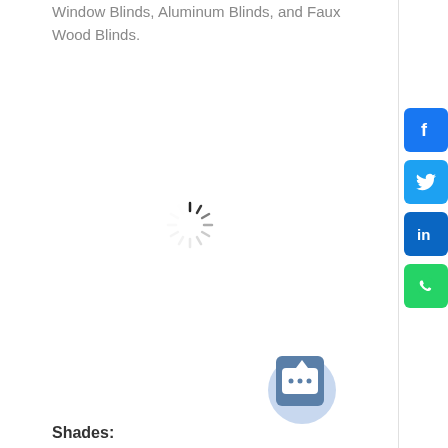Window Blinds, Aluminum Blinds, and Faux Wood Blinds.
[Figure (other): Loading spinner animation indicator (circular dashed spinner)]
[Figure (other): Social media share buttons: Facebook, Twitter, LinkedIn, WhatsApp]
[Figure (other): Chat widget button with speech bubble icon]
Shades: